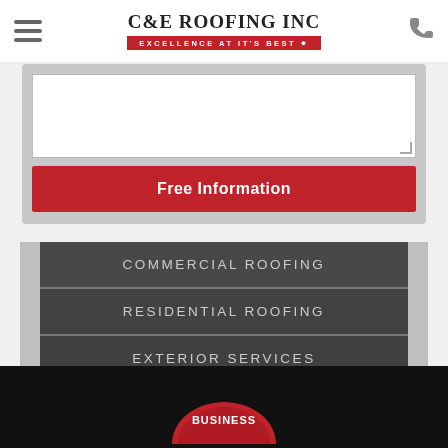[Figure (screenshot): C&E Roofing Inc website screenshot showing header with hamburger menu, logo with tagline 'EXCELLENCE AT IT'S BEST', phone icon, a form with textarea and Free Information button, navigation menu with Commercial Roofing, Residential Roofing, Exterior Services, and a partial badge at bottom.]
C&E ROOFING INC
EXCELLENCE AT IT'S BEST
Free Information
COMMERCIAL ROOFING
RESIDENTIAL ROOFING
EXTERIOR SERVICES
BUSINESS